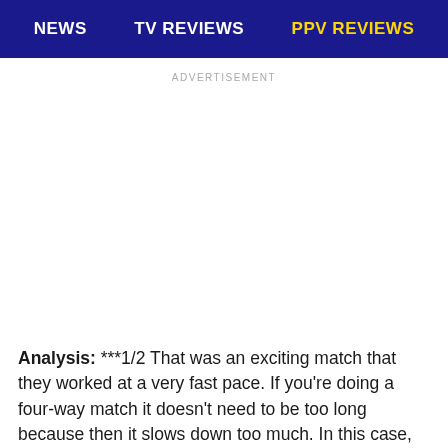NEWS   TV REVIEWS   PPV REVIEWS
ADVERTISEMENT
Analysis: ***1/2 That was an exciting match that they worked at a very fast pace. If you're doing a four-way match it doesn't need to be too long because then it slows down too much. In this case,